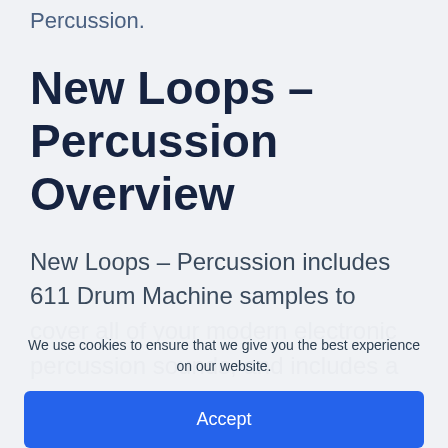Percussion.
New Loops – Percussion Overview
New Loops – Percussion includes 611 Drum Machine samples to cover all of your modern electronic percussion sounds, and includes a variety of toms, rims, bells and …
We use cookies to ensure that we give you the best experience on our website.
Accept